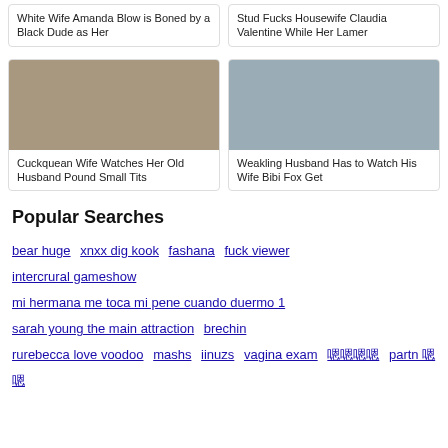White Wife Amanda Blow is Boned by a Black Dude as Her
Stud Fucks Housewife Claudia Valentine While Her Lamer
[Figure (photo): Thumbnail image for Cuckquean Wife Watches Her Old Husband Pound Small Tits]
Cuckquean Wife Watches Her Old Husband Pound Small Tits
[Figure (photo): Thumbnail image for Weakling Husband Has to Watch His Wife Bibi Fox Get]
Weakling Husband Has to Watch His Wife Bibi Fox Get
Popular Searches
bear huge  xnxx dig kook  fashana  fuck viewer
intercrural gameshow
mi hermana me toca mi pene cuando duermo 1
sarah young the main attraction  brechin
rurebecca love voodoo  mashs  iinuzs  vagina exam  嗯嗯嗯嗯  partn 嗯嗯